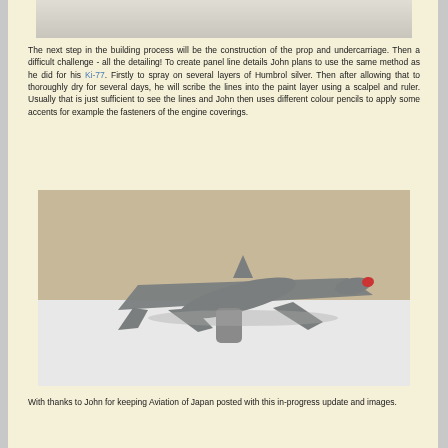[Figure (photo): Top portion of a model aircraft photo, partially visible at the top of the page]
The next step in the building process will be the construction of the prop and undercarriage. Then a difficult challenge - all the detailing! To create panel line details John plans to use the same method as he did for his Ki-77. Firstly to spray on several layers of Humbrol silver. Then after allowing that to thoroughly dry for several days, he will scribe the lines into the paint layer using a scalpel and ruler. Usually that is just sufficient to see the lines and John then uses different colour pencils to apply some accents for example the fasteners of the engine coverings.
[Figure (photo): Grey model airplane (scale model) photographed from the rear/underside angle on a white surface with a tan/brown background. The aircraft has long swept wings and a red-tipped nose.]
With thanks to John for keeping Aviation of Japan posted with this in-progress update and images.